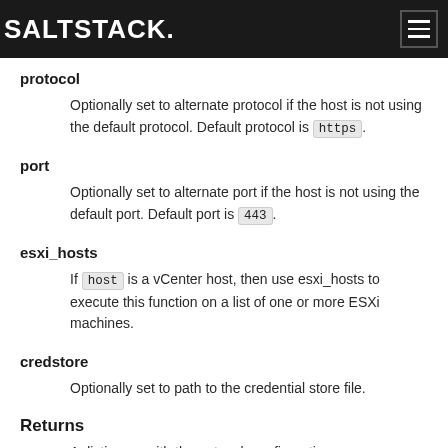SALTSTACK
protocol
Optionally set to alternate protocol if the host is not using the default protocol. Default protocol is https.
port
Optionally set to alternate port if the host is not using the default port. Default port is 443.
esxi_hosts
If host is a vCenter host, then use esxi_hosts to execute this function on a list of one or more ESXi machines.
credstore
Optionally set to path to the credential store file.
Returns
A dictionary with the network configuration